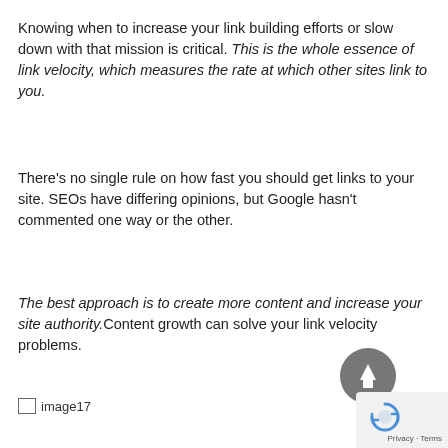Knowing when to increase your link building efforts or slow down with that mission is critical. This is the whole essence of link velocity, which measures the rate at which other sites link to you.
There's no single rule on how fast you should get links to your site. SEOs have differing opinions, but Google hasn't commented one way or the other.
The best approach is to create more content and increase your site authority.Content growth can solve your link velocity problems.
[Figure (other): image17 placeholder icon with label]
[Figure (other): Scroll-to-top circular button with upward arrow]
[Figure (other): Google reCAPTCHA badge with Privacy and Terms links]